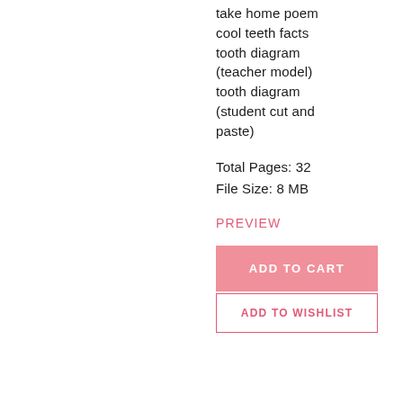take home poem
cool teeth facts
tooth diagram (teacher model)
tooth diagram (student cut and paste)
Total Pages: 32
File Size: 8 MB
PREVIEW
ADD TO CART
ADD TO WISHLIST